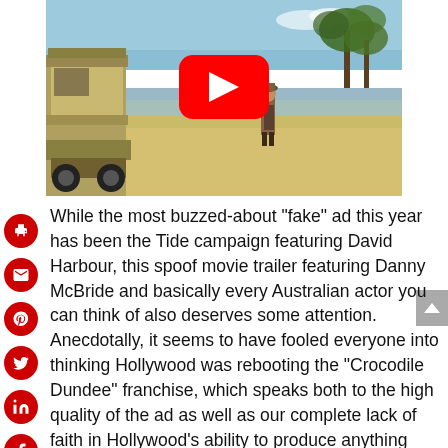[Figure (screenshot): YouTube video thumbnail showing a beach scene with a person standing on sandy shore, palm trees on right, a vehicle on left, and a red YouTube play button overlay in the center top area.]
While the most buzzed-about “fake” ad this year has been the Tide campaign featuring David Harbour, this spoof movie trailer featuring Danny McBride and basically every Australian actor you can think of also deserves some attention. Anecdotally, it seems to have fooled everyone into thinking Hollywood was rebooting the “Crocodile Dundee” franchise, which speaks both to the high quality of the ad as well as our complete lack of faith in Hollywood’s ability to produce anything original. And at the end, you were left laughing